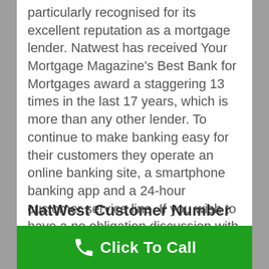particularly recognised for its excellent reputation as a mortgage lender. Natwest has received Your Mortgage Magazine's Best Bank for Mortgages award a staggering 13 times in the last 17 years, which is more than any other lender. To continue to make banking easy for their customers they operate an online banking site, a smartphone banking app and a 24-hour customer service line. If you wish to have a no obligation discussion with NatWest regarding any service they can offer, you can phone the Otley NatWest customer service team on the NatWest contact number.
NatWest Customer Number...
[Figure (other): Green call-to-action bar with phone icon and 'Click To Call' text]